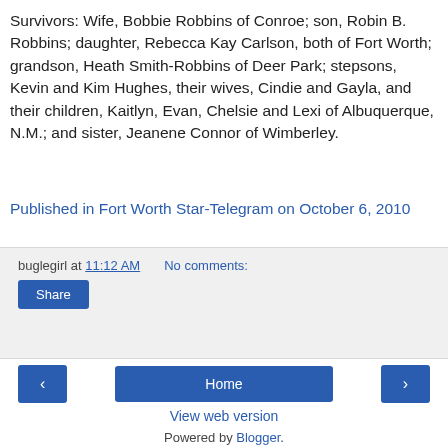Survivors: Wife, Bobbie Robbins of Conroe; son, Robin B. Robbins; daughter, Rebecca Kay Carlson, both of Fort Worth; grandson, Heath Smith-Robbins of Deer Park; stepsons, Kevin and Kim Hughes, their wives, Cindie and Gayla, and their children, Kaitlyn, Evan, Chelsie and Lexi of Albuquerque, N.M.; and sister, Jeanene Connor of Wimberley.
Published in Fort Worth Star-Telegram on October 6, 2010
buglegirl at 11:12 AM   No comments:
Share
‹
Home
›
View web version
Powered by Blogger.